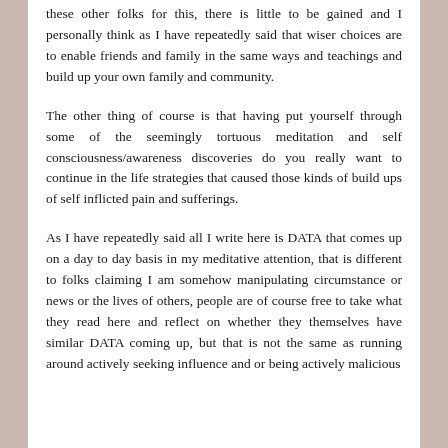these other folks for this, there is little to be gained and I personally think as I have repeatedly said that wiser choices are to enable friends and family in the same ways and teachings and build up your own family and community.
The other thing of course is that having put yourself through some of the seemingly tortuous meditation and self consciousness/awareness discoveries do you really want to continue in the life strategies that caused those kinds of build ups of self inflicted pain and sufferings.
As I have repeatedly said all I write here is DATA that comes up on a day to day basis in my meditative attention, that is different to folks claiming I am somehow manipulating circumstance or news or the lives of others, people are of course free to take what they read here and reflect on whether they themselves have similar DATA coming up, but that is not the same as running around actively seeking influence and or being actively malicious